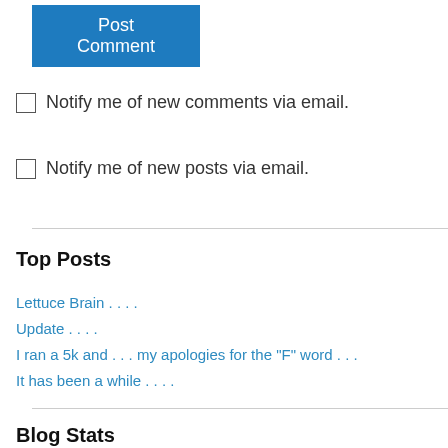Post Comment
Notify me of new comments via email.
Notify me of new posts via email.
Top Posts
Lettuce Brain . . . .
Update . . . .
I ran a 5k and . . . my apologies for the "F" word . . .
It has been a while . . . .
Blog Stats
80,040 hits